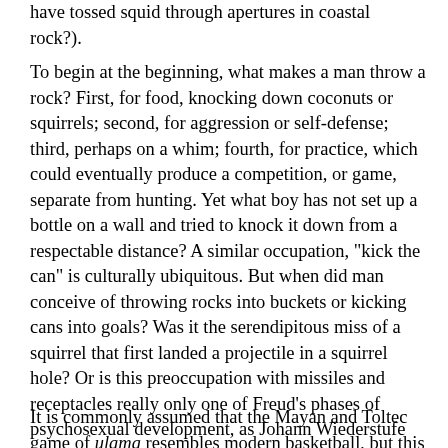have tossed squid through apertures in coastal rock?).
To begin at the beginning, what makes a man throw a rock? First, for food, knocking down coconuts or squirrels; second, for aggression or self-defense; third, perhaps on a whim; fourth, for practice, which could eventually produce a competition, or game, separate from hunting. Yet what boy has not set up a bottle on a wall and tried to knock it down from a respectable distance? A similar occupation, "kick the can" is culturally ubiquitous. But when did man conceive of throwing rocks into buckets or kicking cans into goals? Was it the serendipitous miss of a squirrel that first landed a projectile in a squirrel hole? Or is this preoccupation with missiles and receptacles really only one of Freud's phases of psychosexual development, as Johann Wiederstufe maintains in his Untersuchungen im KinderSpiel? (Hamburg Verlag, 1967). Such a foundational question is beyond the scope of my essay and remains a concern for the scholarly anthropologist.
It is commonly assumed that the Mayan and Toltec game of ulama resembles modern basketball, but this game is more a hybrid of soccer and